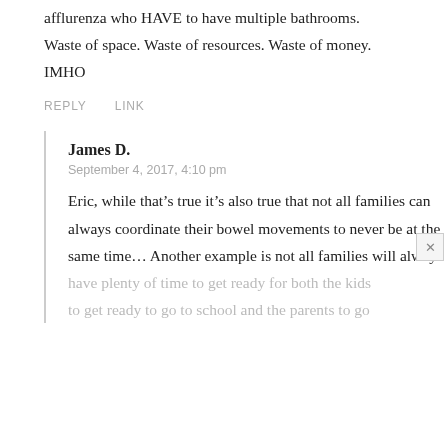afflurenza who HAVE to have multiple bathrooms. Waste of space. Waste of resources. Waste of money. IMHO
REPLY   LINK
James D.
September 4, 2017, 4:10 pm
Eric, while that’s true it’s also true that not all families can always coordinate their bowel movements to never be at the same time… Another example is not all families will always have plenty of time to get ready for both the kids to get ready to go to school and the parents to go